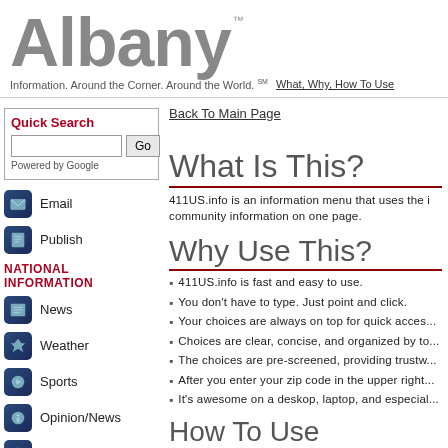Albany™
Information. Around the Corner. Around the World. SM
What, Why, How To Use
Back To Main Page
Quick Search
Powered by Google
Email
Publish
NATIONAL INFORMATION
News
Weather
Sports
Opinion/News
Reference
Library
Education
Search
What Is This?
411US.info is an information menu that uses the i community information on one page.
Why Use This?
411US.info is fast and easy to use.
You don't have to type. Just point and click.
Your choices are always on top for quick acces...
Choices are clear, concise, and organized by to...
The choices are pre-screened, providing trustw...
After you enter your zip code in the upper right...
It's awesome on a deskop, laptop, and especial...
How To Use 411US.info
To find local information enter your zip code...